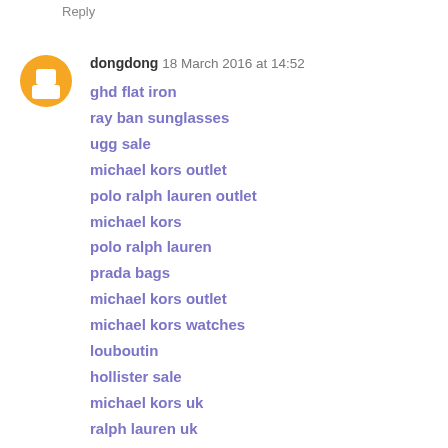Reply
dongdong  18 March 2016 at 14:52
ghd flat iron
ray ban sunglasses
ugg sale
michael kors outlet
polo ralph lauren outlet
michael kors
polo ralph lauren
prada bags
michael kors outlet
michael kors watches
louboutin
hollister sale
michael kors uk
ralph lauren uk
polo ralph lauren outlet
michael kors outlet
michael kors bags
omega watches